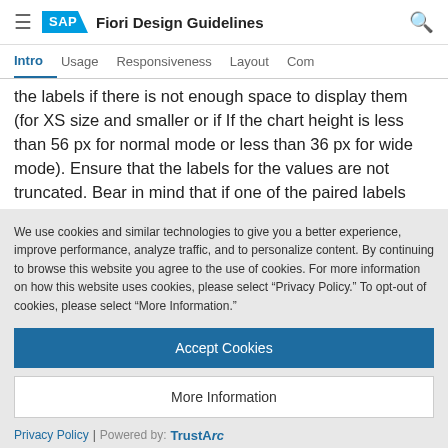SAP Fiori Design Guidelines
Intro  Usage  Responsiveness  Layout  Comp
the labels if there is not enough space to display them (for XS size and smaller or if If the chart height is less than 56 px for normal mode or less than 36 px for wide mode). Ensure that the labels for the values are not truncated. Bear in mind that if one of the paired labels
We use cookies and similar technologies to give you a better experience, improve performance, analyze traffic, and to personalize content. By continuing to browse this website you agree to the use of cookies. For more information on how this website uses cookies, please select “Privacy Policy.” To opt-out of cookies, please select “More Information.”
Accept Cookies
More Information
Privacy Policy | Powered by: TrustArc
in, they are both hidden